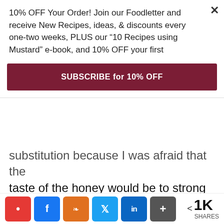10% OFF Your Order! Join our Foodletter and receive New Recipes, ideas, & discounts every one-two weeks, PLUS our “10 Recipes using Mustard” e-book, and 10% OFF your first
SUBSCRIBE for 10% OFF
substitution because I was afraid that the taste of the honey would be to strong and overpower the whole cake. It didn't, and it actually made it so much better. The cake was amazingly delicious and moist.
[Figure (photo): Close-up photo of green herbs/leaves and what appears to be a dark bowl, against a dark background]
< 1K SHARES